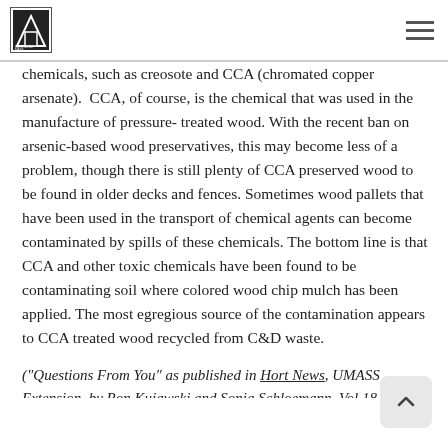[Logo] [Navigation]
recycled-wood mulch.
Nevertheless, it has been found that some of the recycled waste wood used for making landscape mulch products is contaminated with various chemicals, such as creosote and CCA (chromated copper arsenate). CCA, of course, is the chemical that was used in the manufacture of pressure-treated wood. With the recent ban on arsenic-based wood preservatives, this may become less of a problem, though there is still plenty of CCA preserved wood to be found in older decks and fences. Sometimes wood pallets that have been used in the transport of chemical agents can become contaminated by spills of these chemicals. The bottom line is that CCA and other toxic chemicals have been found to be contaminating soil where colored wood chip mulch has been applied. The most egregious source of the contamination appears to CCA treated wood recycled from C&D waste.
("Questions From You" as published in Hort News, UMASS Extension, by Ron Kujawski and Sonia Schloemann. Vol 18, Number 5)